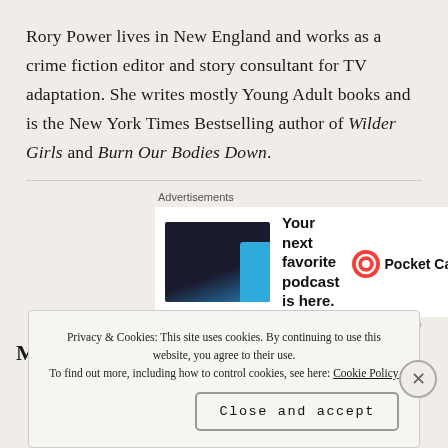Rory Power lives in New England and works as a crime fiction editor and story consultant for TV adaptation. She writes mostly Young Adult books and is the New York Times Bestselling author of Wilder Girls and Burn Our Bodies Down.
[Figure (screenshot): Pocket Casts advertisement banner showing app screenshot on left, text 'Your next favorite podcast is here.' in center, and Pocket Casts logo on right]
My Ratin...
Privacy & Cookies: This site uses cookies. By continuing to use this website, you agree to their use.
To find out more, including how to control cookies, see here: Cookie Policy
Close and accept